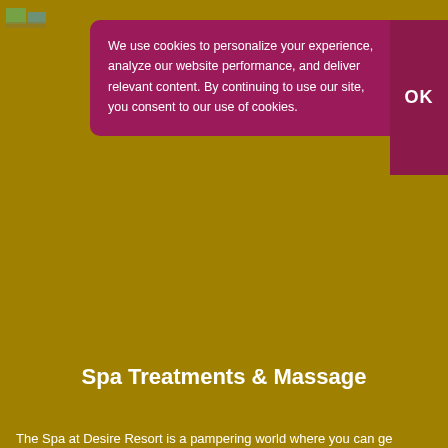[Figure (logo): Small resort/hotel logo in top left corner]
We use cookies to personalize your experience, analyze our website performance, and deliver relevant content. By continuing to use our site, you consent to our use of cookies.
OK
Spa Treatments & Massage
The Spa at Desire Resort is a pampering world where you can ge